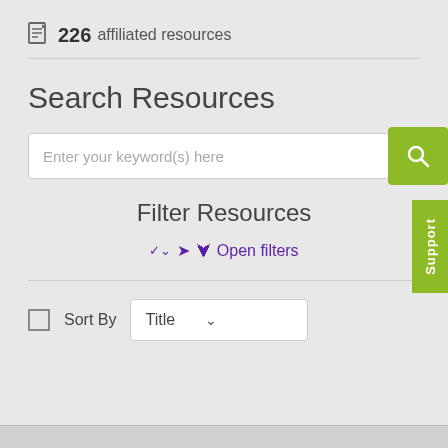226 affiliated resources
Search Resources
Enter your keyword(s) here
Filter Resources
Open filters
Sort By  Title